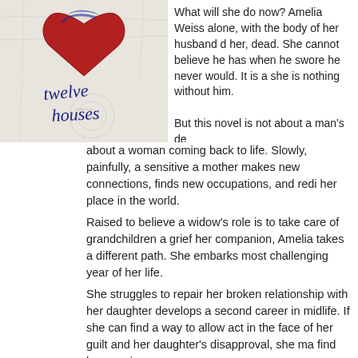[Figure (photo): Book cover of 'twelve houses' showing a red heart illustration on crumpled white paper with handwritten-style text]
What will she do now? Amelia Weiss alone, with the body of her husband d her, dead. She cannot believe he has when he swore he never would. It is a she is nothing without him.
But this novel is not about a man's de about a woman coming back to life. Slowly, painfully, a sensitive a mother makes new connections, finds new occupations, and redi her place in the world.
Raised to believe a widow's role is to take care of grandchildren a grief her companion, Amelia takes a different path. She embarks most challenging year of her life.
She struggles to repair her broken relationship with her daughter develops a second career in midlife. If she can find a way to allow act in the face of her guilt and her daughter's disapproval, she ma find love again.
This heartfelt novel is the story of a courageous woman's spiritua Amelia begins to rediscover herself, readers will share in her refu in to loss or to accept anything less than a rich and meaningful li